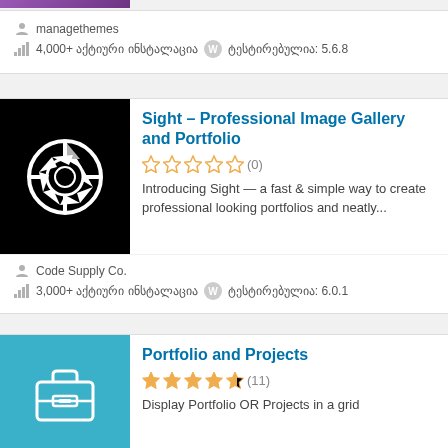[Figure (screenshot): Partial purple plugin thumbnail at very top]
managethemes
4,000+ აქტიური ინსტალაცია   tested: 5.6.8
[Figure (screenshot): Sight plugin - camera aperture icon on black background]
Sight – Professional Image Gallery and Portfolio
(0) stars
Introducing Sight — a fast & simple way to create professional looking portfolios and neatly...
Code Supply Co.
3,000+ აქტიური ინსტალაცია   tested: 6.0.1
[Figure (screenshot): Portfolio and Projects plugin - briefcase icon on teal background]
Portfolio and Projects
(11) stars - 4.5
Display Portfolio OR Projects in a grid